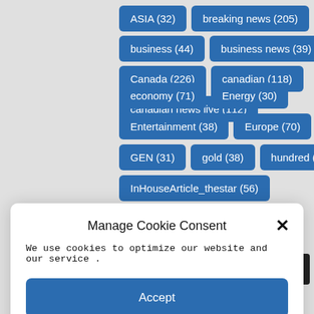[Figure (screenshot): Tag cloud background with blue pill-shaped tags including ASIA (32), breaking news (205), business (44), business news (39), Canada (226), canadian (118), canadian news live (112), economy (71), Energy (30), Entertainment (38), Europe (70), GEN (31), gold (38), hundred (41), InHouseArticle_thestar (56), investing (33), live video (89)]
Manage Cookie Consent
We use cookies to optimize our website and our service .
Accept
Cookie Policy